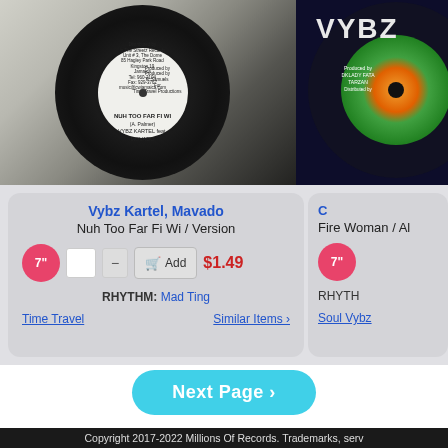[Figure (photo): Vinyl record with white label showing 'NUH TOO FAR FI WI (A. Palmer) VYBZ KARTEL feat. MOVADO', distributed by In The Streetz Records, produced by P. Samuels for Time Travel Productions]
[Figure (photo): Partial view of a colorful vinyl record with VYBZ text visible at top]
Vybz Kartel, Mavado
Nuh Too Far Fi Wi / Version
7"
Add
$1.49
RHYTHM: Mad Ting
Time Travel
Similar Items >
7"
Fire Woman / Al
Soul Vybz
Next Page >
Copyright 2017-2022 Millions Of Records. Trademarks, serv